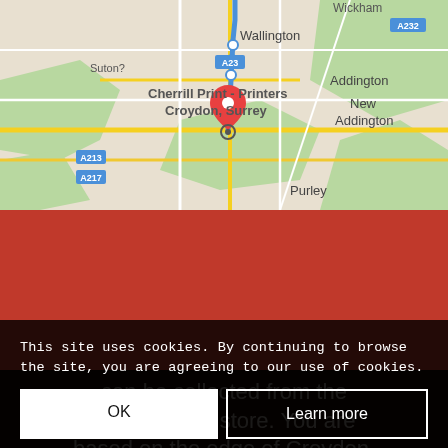[Figure (map): Google Maps screenshot showing Cherrill Print - Printers location in Croydon, Surrey. Shows surrounding areas including Wallington, Addington, New Addington, Purley, and road labels A23, A232, A217, A213.]
Orders for any printing work
can be collected from the Cherrill Print store. You are based on the edge of Croydon,
This site uses cookies. By continuing to browse the site, you are agreeing to our use of cookies.
OK
Learn more